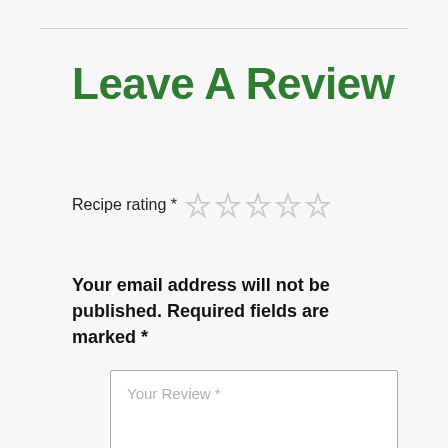Leave A Review
Recipe rating *
Your email address will not be published. Required fields are marked *
Your Review *